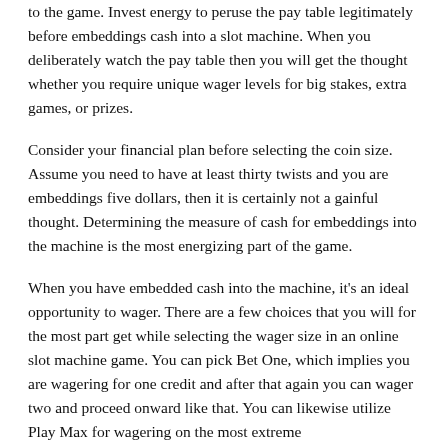to the game. Invest energy to peruse the pay table legitimately before embeddings cash into a slot machine. When you deliberately watch the pay table then you will get the thought whether you require unique wager levels for big stakes, extra games, or prizes.
Consider your financial plan before selecting the coin size. Assume you need to have at least thirty twists and you are embeddings five dollars, then it is certainly not a gainful thought. Determining the measure of cash for embeddings into the machine is the most energizing part of the game.
When you have embedded cash into the machine, it's an ideal opportunity to wager. There are a few choices that you will for the most part get while selecting the wager size in an online slot machine game. You can pick Bet One, which implies you are wagering for one credit and after that again you can wager two and proceed onward like that. You can likewise utilize Play Max for wagering on the most extreme